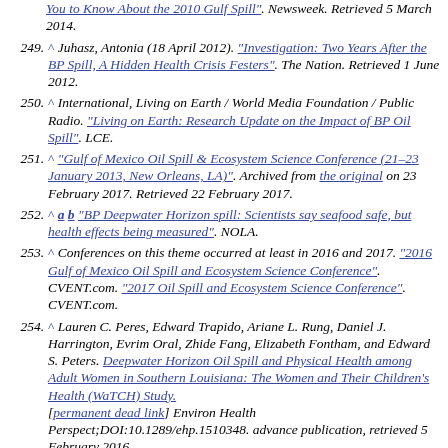249. ^ Juhasz, Antonia (18 April 2012). "Investigation: Two Years After the BP Spill, A Hidden Health Crisis Festers". The Nation. Retrieved 1 June 2012.
250. ^ International, Living on Earth / World Media Foundation / Public Radio. "Living on Earth: Research Update on the Impact of BP Oil Spill". LCE.
251. ^ "Gulf of Mexico Oil Spill & Ecosystem Science Conference (21–23 January 2013, New Orleans, LA)". Archived from the original on 23 February 2017. Retrieved 22 February 2017.
252. ^ a b "BP Deepwater Horizon spill: Scientists say seafood safe, but health effects being measured". NOLA.
253. ^ Conferences on this theme occurred at least in 2016 and 2017. "2016 Gulf of Mexico Oil Spill and Ecosystem Science Conference". CVENT.com. "2017 Oil Spill and Ecosystem Science Conference". CVENT.com.
254. ^ Lauren C. Peres, Edward Trapido, Ariane L. Rung, Daniel J. Harrington, Evrim Oral, Zhide Fang, Elizabeth Fontham, and Edward S. Peters. Deepwater Horizon Oil Spill and Physical Health among Adult Women in Southern Louisiana: The Women and Their Children's Health (WaTCH) Study. [permanent dead link] Environ Health Perspect;DOI:10.1289/ehp.1510348. advance publication, retrieved 5 February 2016.